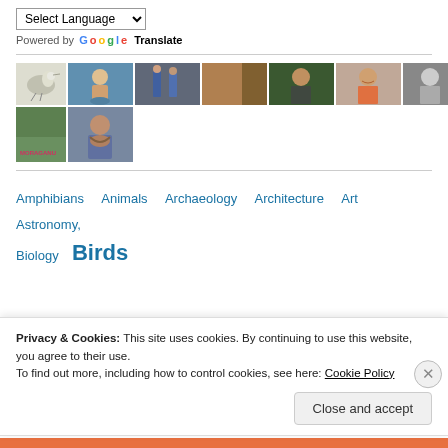Select Language (dropdown)
Powered by Google Translate
[Figure (photo): Grid of thumbnail photos: bird, person in blue, people walking, brown abstract, man in green, man smiling, woman black-and-white, dark outdoors photo, plant with text overlay, bearded man smiling]
Amphibians   Animals   Archaeology   Architecture   Art   Astronomy,
Biology   Birds
Privacy & Cookies: This site uses cookies. By continuing to use this website, you agree to their use.
To find out more, including how to control cookies, see here: Cookie Policy
Close and accept